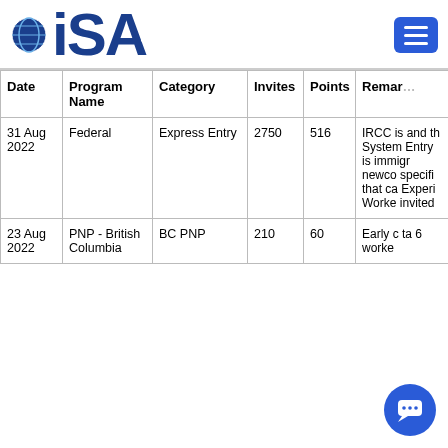ISA
| Date | Program Name | Category | Invites | Points | Remarks |
| --- | --- | --- | --- | --- | --- |
| 31 Aug 2022 | Federal | Express Entry | 2750 | 516 | IRCC is and th System Entry is immigr newco specifi that ca Experi Worke invited |
| 23 Aug 2022 | PNP - British Columbia | BC PNP | 210 | 60 | Early c ta 6 worke |